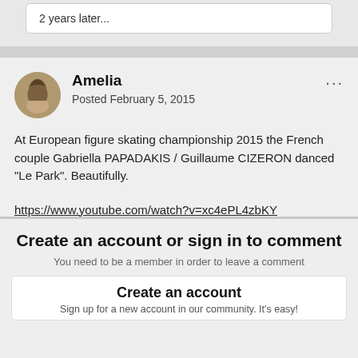2 years later...
Amelia
Posted February 5, 2015
At European figure skating championship 2015 the French couple Gabriella PAPADAKIS / Guillaume CIZERON danced “Le Park”. Beautifully.
https://www.youtube.com/watch?v=xc4ePL4zbKY
Create an account or sign in to comment
You need to be a member in order to leave a comment
Create an account
Sign up for a new account in our community. It's easy!